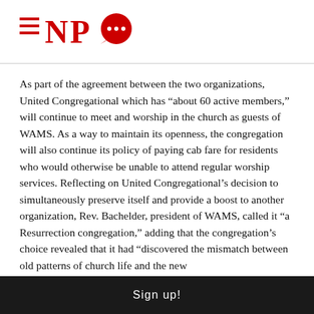NPQ
As part of the agreement between the two organizations, United Congregational which has “about 60 active members,” will continue to meet and worship in the church as guests of WAMS. As a way to maintain its openness, the congregation will also continue its policy of paying cab fare for residents who would otherwise be unable to attend regular worship services. Reflecting on United Congregational’s decision to simultaneously preserve itself and provide a boost to another organization, Rev. Bachelder, president of WAMS, called it “a Resurrection congregation,” adding that the congregation’s choice revealed that it had “discovered the mismatch between old patterns of church life and the new
Sign up!